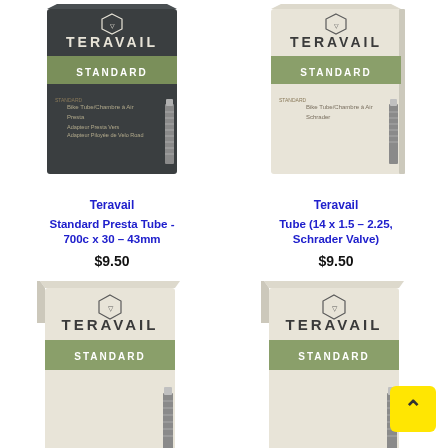[Figure (photo): Teravail Standard dark box (Presta valve tube) product image - top left]
Teravail
Standard Presta Tube - 700c x 30 – 43mm
$9.50
[Figure (photo): Teravail Standard light beige box (Schrader valve tube) product image - top right]
Teravail
Tube (14 x 1.5 – 2.25, Schrader Valve)
$9.50
[Figure (photo): Teravail Standard light beige box product image - bottom left, partially visible]
[Figure (photo): Teravail Standard light beige box product image - bottom right, partially visible]